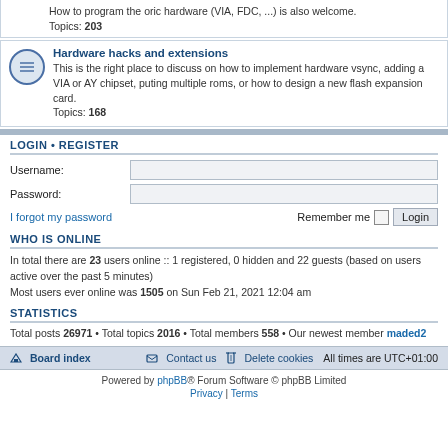How to program the oric hardware (VIA, FDC, ...) is also welcome.
Topics: 203
Hardware hacks and extensions
This is the right place to discuss on how to implement hardware vsync, adding a VIA or AY chipset, puting multiple roms, or how to design a new flash expansion card.
Topics: 168
LOGIN • REGISTER
Username:
Password:
I forgot my password
Remember me
WHO IS ONLINE
In total there are 23 users online :: 1 registered, 0 hidden and 22 guests (based on users active over the past 5 minutes)
Most users ever online was 1505 on Sun Feb 21, 2021 12:04 am
STATISTICS
Total posts 26971 • Total topics 2016 • Total members 558 • Our newest member maded2
Board index  Contact us  Delete cookies  All times are UTC+01:00
Powered by phpBB® Forum Software © phpBB Limited
Privacy | Terms